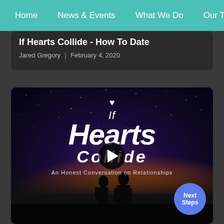Home | News & Events | What We Do | Our Team
If Hearts Collide - How To Date
Jared Gregory | February 4, 2020
[Figure (screenshot): Video thumbnail with night sky background, two silhouettes, and overlay text 'If Hearts Collide - An Honest Conversation on Relationships' with a play button in the center and a 'Next Steps' blue circle button in the bottom right.]